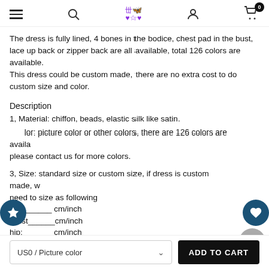Navigation bar with hamburger menu, search, logo, user icon, cart (0)
The dress is fully lined, 4 bones in the bodice, chest pad in the bust, lace up back or zipper back are all available, total 126 colors are available.
This dress could be custom made, there are no extra cost to do custom size and color.
Description
1, Material: chiffon, beads, elastic silk like satin.
2, Color: picture color or other colors, there are 126 colors are available, please contact us for more colors.
3, Size: standard size or custom size, if dress is custom made, we need to size as following
bust______ cm/inch
waist______cm/inch
hip:_______cm/inch